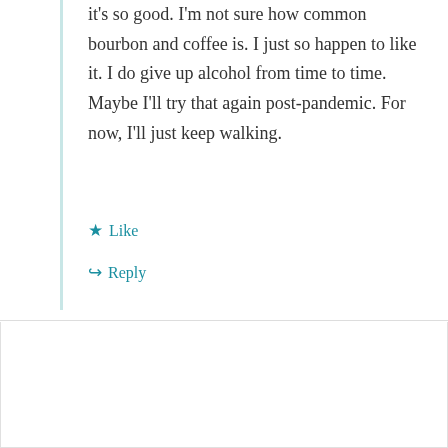it's so good. I'm not sure how common bourbon and coffee is. I just so happen to like it. I do give up alcohol from time to time. Maybe I'll try that again post-pandemic. For now, I'll just keep walking.
Like
Reply
Bryan Wagner
May 9, 2020 at 10:56 am
Thanks for this. I am deeply addicted to coffee.